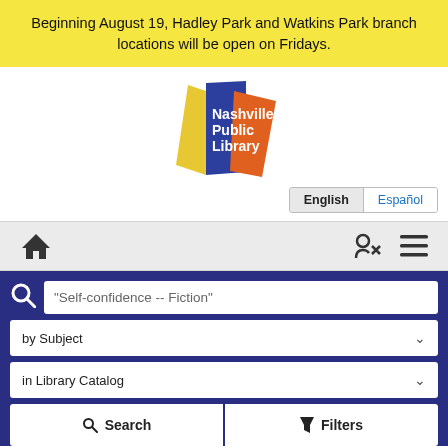Beginning August 19, Hadley Park and Watkins Park branch locations will be open on Fridays.
[Figure (logo): Nashville Public Library logo with stylized open book pages in blue and yellow/orange with white text]
English  Español
[Figure (infographic): Navigation bar with home icon on left, login and menu icons on right]
"Self-confidence -- Fiction"
by Subject
in Library Catalog
Search   Filters
Browse » Catalog Search » Showing 1 - 20 of 383